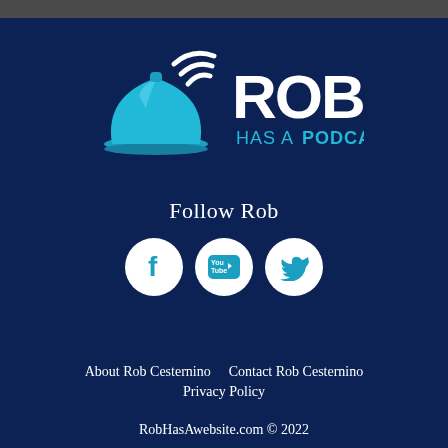[Figure (logo): Rob Has a Podcast logo with a blue hotel service bell and wifi signal arcs, beside bold white and teal text 'ROB HAS A PODCAST']
Follow Rob
[Figure (infographic): Three circular social media icon buttons: Facebook, YouTube, Twitter]
About Rob Cesternino    Contact Rob Cesternino
Privacy Policy
RobHasAwebsite.com © 2022